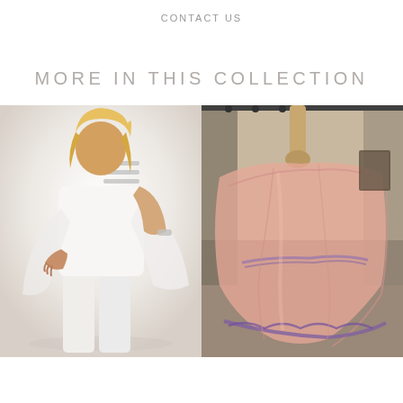CONTACT US
MORE IN THIS COLLECTION
[Figure (photo): Woman wearing a white chiffon top with open shoulder bar strap details, paired with white pants, posing with hand on hip against a white background]
[Figure (photo): A pink/rose colored sheer wrap or scarf with purple lace trim displayed on a dress form mannequin in a boutique setting]